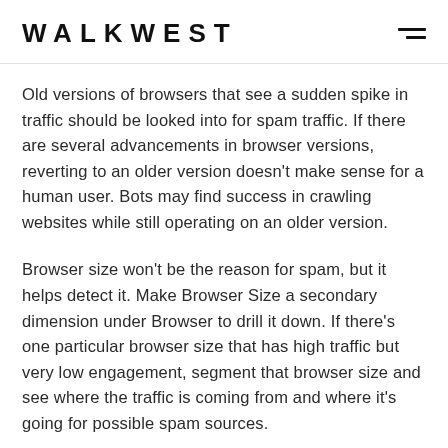WALKWEST
Old versions of browsers that see a sudden spike in traffic should be looked into for spam traffic. If there are several advancements in browser versions, reverting to an older version doesn't make sense for a human user. Bots may find success in crawling websites while still operating on an older version.
Browser size won't be the reason for spam, but it helps detect it. Make Browser Size a secondary dimension under Browser to drill it down. If there's one particular browser size that has high traffic but very low engagement, segment that browser size and see where the traffic is coming from and where it's going for possible spam sources.